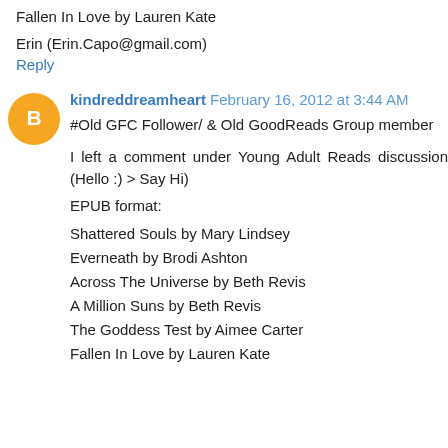Fallen In Love by Lauren Kate
Erin (Erin.Capo@gmail.com)
Reply
kindreddreamheart February 16, 2012 at 3:44 AM
#Old GFC Follower/ & Old GoodReads Group member
I left a comment under Young Adult Reads discussion (Hello :) > Say Hi)
EPUB format:
Shattered Souls by Mary Lindsey
Everneath by Brodi Ashton
Across The Universe by Beth Revis
A Million Suns by Beth Revis
The Goddess Test by Aimee Carter
Fallen In Love by Lauren Kate